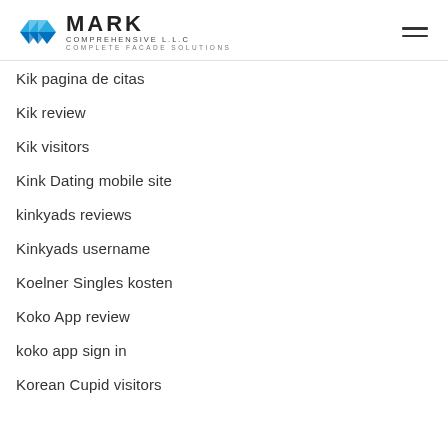MARK COMPREHENSIVE L.L.C — COMPLETE FACADE SOLUTIONS
Kik pagina de citas
Kik review
Kik visitors
Kink Dating mobile site
kinkyads reviews
Kinkyads username
Koelner Singles kosten
Koko App review
koko app sign in
Korean Cupid visitors